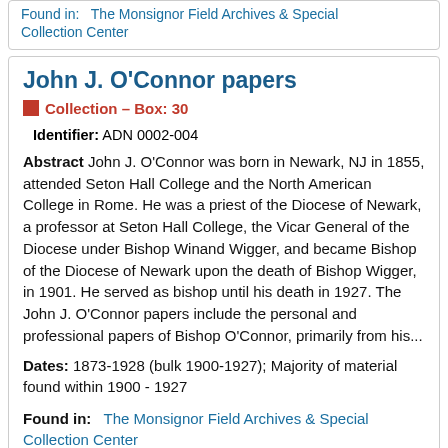Found in: The Monsignor Field Archives & Special Collection Center
John J. O'Connor papers
Collection — Box: 30
Identifier: ADN 0002-004
Abstract John J. O'Connor was born in Newark, NJ in 1855, attended Seton Hall College and the North American College in Rome. He was a priest of the Diocese of Newark, a professor at Seton Hall College, the Vicar General of the Diocese under Bishop Winand Wigger, and became Bishop of the Diocese of Newark upon the death of Bishop Wigger, in 1901. He served as bishop until his death in 1927. The John J. O'Connor papers include the personal and professional papers of Bishop O'Connor, primarily from his...
Dates: 1873-1928 (bulk 1900-1927); Majority of material found within 1900 - 1927
Found in: The Monsignor Field Archives & Special Collection Center